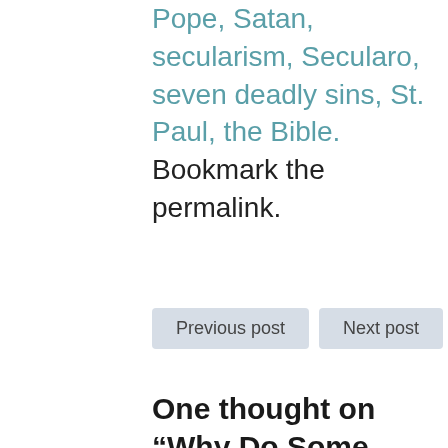Pope, Satan, secularism, Secularo, seven deadly sins, St. Paul, the Bible. Bookmark the permalink.
Previous post    Next post
One thought on “Why Do Some People Hate God? Because God has Rules”
Anonymous